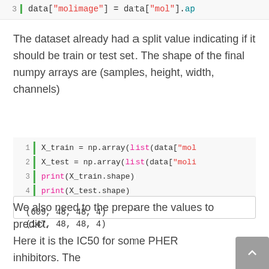[Figure (screenshot): Code snippet line 3: data["molimage"] = data["mol"].ap]
The dataset already had a split value indicating if it should be train or test set. The shape of the final numpy arrays are (samples, height, width, channels)
[Figure (screenshot): Code block with 4 lines:
1: X_train = np.array(list(data["mol
2: X_test = np.array(list(data["moli
3: print(X_train.shape)
4: print(X_test.shape)]
[Figure (screenshot): Output block:
(609, 48, 48, 4)
(147, 48, 48, 4)]
We also need to the prepare the values to predict. Here it is the IC50 for some PHER inhibitors. Tho